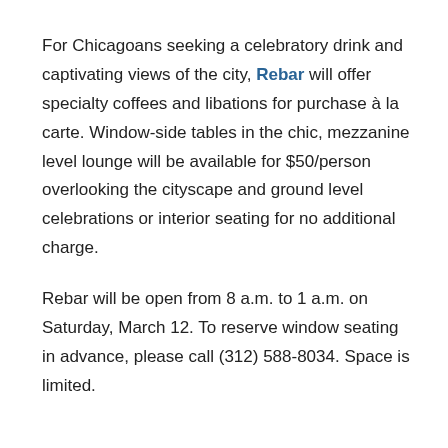For Chicagoans seeking a celebratory drink and captivating views of the city, Rebar will offer specialty coffees and libations for purchase à la carte. Window-side tables in the chic, mezzanine level lounge will be available for $50/person overlooking the cityscape and ground level celebrations or interior seating for no additional charge.
Rebar will be open from 8 a.m. to 1 a.m. on Saturday, March 12. To reserve window seating in advance, please call (312) 588-8034. Space is limited.
About Trump International Hotel & Tower® Chicago
Trump International Hotel & Tower® Chicago, located in the heart of the city at 401 N. Wabash Avenue, welcomed